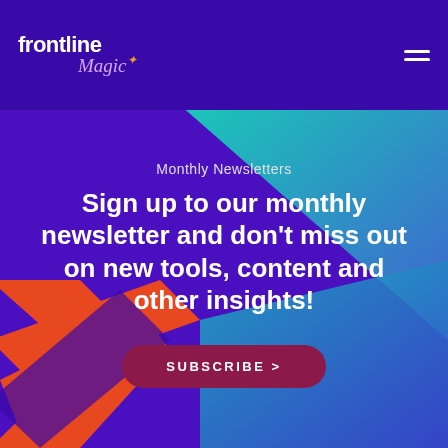frontline Magic
Monthly Newsletters
Sign up to our monthly newsletter and don't miss out on new tools, content and other insights!
SUBSCRIBE >